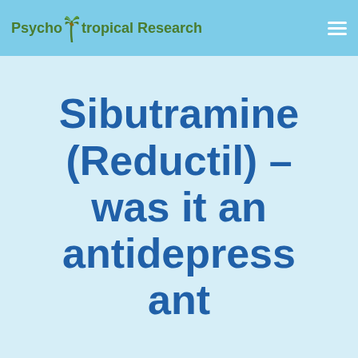Psycho Tropical Research
Sibutramine (Reductil) – was it an antidepressant